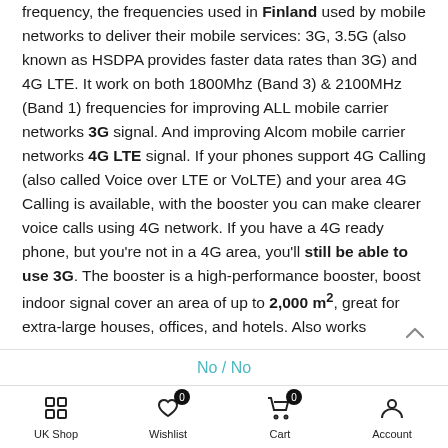frequency, the frequencies used in Finland used by mobile networks to deliver their mobile services: 3G, 3.5G (also known as HSDPA provides faster data rates than 3G) and 4G LTE. It work on both 1800Mhz (Band 3) & 2100MHz (Band 1) frequencies for improving ALL mobile carrier networks 3G signal. And improving Alcom mobile carrier networks 4G LTE signal. If your phones support 4G Calling (also called Voice over LTE or VoLTE) and your area 4G Calling is available, with the booster you can make clearer voice calls using 4G network. If you have a 4G ready phone, but you're not in a 4G area, you'll still be able to use 3G. The booster is a high-performance booster, boost indoor signal cover an area of up to 2,000 m², great for extra-large houses, offices, and hotels. Also works
No / No
UK Shop  Wishlist  Cart  Account